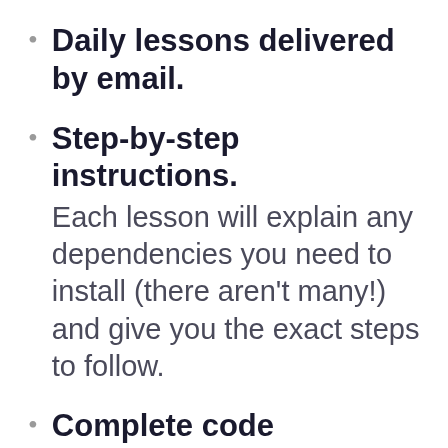Daily lessons delivered by email.
Step-by-step instructions. Each lesson will explain any dependencies you need to install (there aren't many!) and give you the exact steps to follow.
Complete code examples. The lesson will show you all of